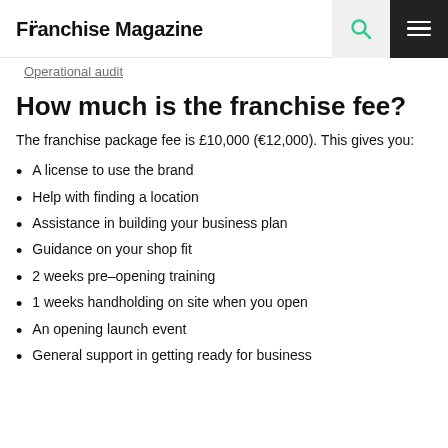Franchise Magazine
Operational audit
How much is the franchise fee?
The franchise package fee is £10,000 (€12,000). This gives you:
A license to use the brand
Help with finding a location
Assistance in building your business plan
Guidance on your shop fit
2 weeks pre–opening training
1 weeks handholding on site when you open
An opening launch event
General support in getting ready for business